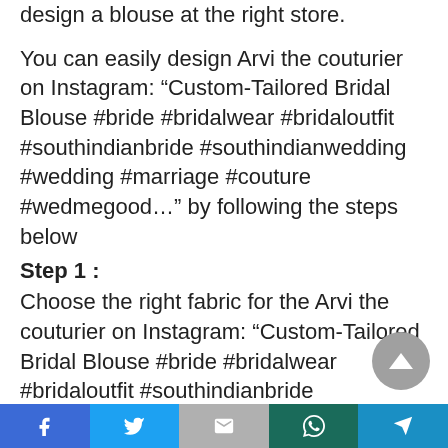design a blouse at the right store.
You can easily design Arvi the couturier on Instagram: “Custom-Tailored Bridal Blouse #bride #bridalwear #bridaloutfit #southindianbride #southindianwedding #wedding #marriage #couture #wedmegood…” by following the steps below
Step 1 :
Choose the right fabric for the Arvi the couturier on Instagram: “Custom-Tailored Bridal Blouse #bride #bridalwear #bridaloutfit #southindianbride #southindianwedding #wedding #marriage #couture #wedmegood…”
Facebook | Twitter | Gmail | WhatsApp | Share